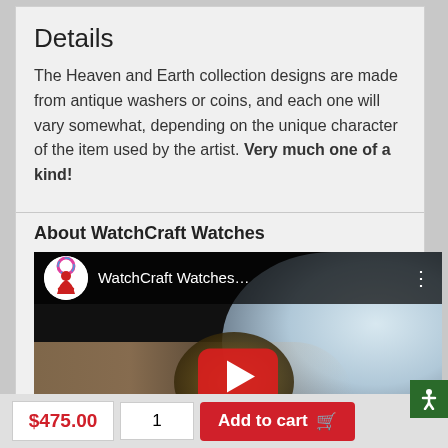Details
The Heaven and Earth collection designs are made from antique washers or coins, and each one will vary somewhat, depending on the unique character of the item used by the artist. Very much one of a kind!
About WatchCraft Watches
[Figure (screenshot): YouTube video thumbnail showing WatchCraft Watches channel with a watch being held in a hand, YouTube play button overlay visible]
$475.00
1
Add to cart